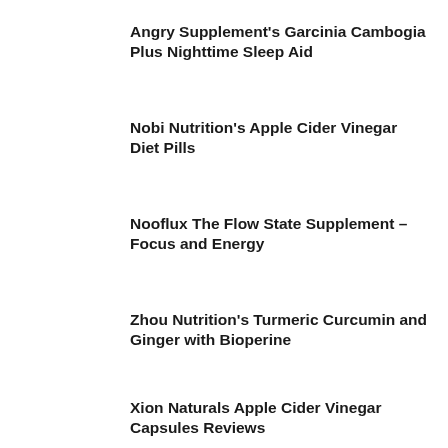Angry Supplement's Garcinia Cambogia Plus Nighttime Sleep Aid
Nobi Nutrition's Apple Cider Vinegar Diet Pills
Nooflux The Flow State Supplement – Focus and Energy
Zhou Nutrition's Turmeric Curcumin and Ginger with Bioperine
Xion Naturals Apple Cider Vinegar Capsules Reviews